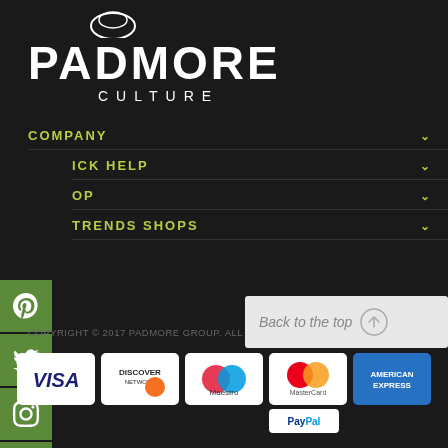[Figure (logo): Padmore Culture logo with circular emblem above text]
COMPANY
QUICK HELP
SHOP
TRENDS SHOPS
[Figure (illustration): Social media icons: Pinterest, Twitter, Instagram, Facebook, Email - green square buttons]
COPYRIGHT © 2017 PADMORE GROUP. ALL RIGHTS RESERVED.
Back to the top
[Figure (other): Payment method logos: VISA, DISCOVER NETWORK, Maestro, MasterCard, American Express, PayPal]